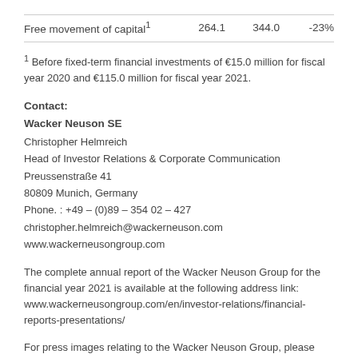|  |  |  |  |
| --- | --- | --- | --- |
| Free movement of capital¹ | 264.1 | 344.0 | -23% |
¹ Before fixed-term financial investments of €15.0 million for fiscal year 2020 and €115.0 million for fiscal year 2021.
Contact:
Wacker Neuson SE
Christopher Helmreich
Head of Investor Relations & Corporate Communication
Preussenstraße 41
80809 Munich, Germany
Phone. : +49 – (0)89 – 354 02 – 427
christopher.helmreich@wackerneuson.com
www.wackerneusongroup.com
The complete annual report of the Wacker Neuson Group for the financial year 2021 is available at the following address link: www.wackerneusongroup.com/en/investor-relations/financial-reports-presentations/
For press images relating to the Wacker Neuson Group, please